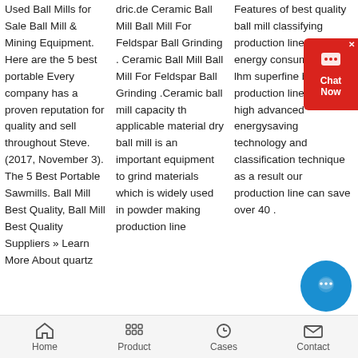Used Ball Mills for Sale Ball Mill & Mining Equipment. Here are the 5 best portable Every company has a proven reputation for quality and sell throughout Steve. (2017, November 3). The 5 Best Portable Sawmills. Ball Mill Best Quality, Ball Mill Best Quality Suppliers » Learn More About quartz
dric.de Ceramic Ball Mill Ball Mill For Feldspar Ball Grinding . Ceramic Ball Mill Ball Mill For Feldspar Ball Grinding .Ceramic ball mill capacity th applicable material dry ball mill is an important equipment to grind materials which is widely used in powder making production line
Features of best quality ball mill classifying production line 1 low energy consumption our lhm superfine ball mill production line adopted high advanced energysaving technology and classification technique as a result our production line can save over 40 .
Home   Product   Cases   Contact